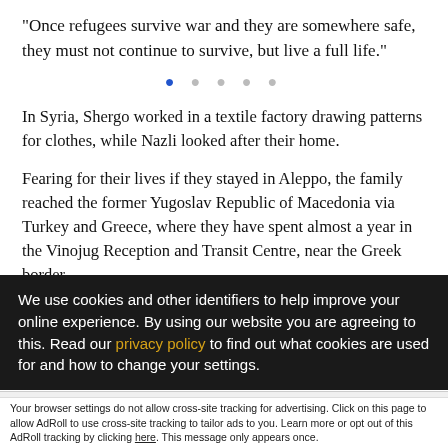“Once refugees survive war and they are somewhere safe, they must not continue to survive, but live a full life.”
[Figure (other): Pagination dots: one filled blue dot followed by four grey dots]
In Syria, Shergo worked in a textile factory drawing patterns for clothes, while Nazli looked after their home.
Fearing for their lives if they stayed in Aleppo, the family reached the former Yugoslav Republic of Macedonia via Turkey and Greece, where they have spent almost a year in the Vinojug Reception and Transit Centre, near the Greek border.
In March 2016, the borders of the countries in the Balkans
We use cookies and other identifiers to help improve your online experience. By using our website you are agreeing to this. Read our privacy policy to find out what cookies are used for and how to change your settings.
Accept and Close ×
Your browser settings do not allow cross-site tracking for advertising. Click on this page to allow AdRoll to use cross-site tracking to tailor ads to you. Learn more or opt out of this AdRoll tracking by clicking here. This message only appears once.